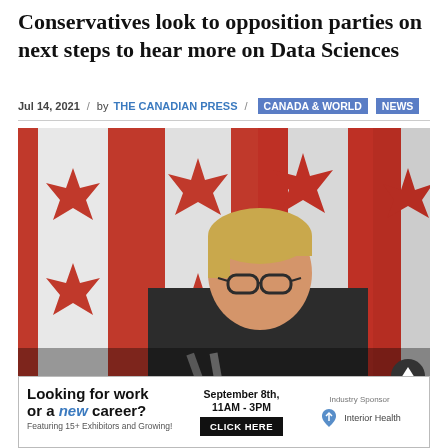Conservatives look to opposition parties on next steps to hear more on Data Sciences
Jul 14, 2021 / by THE CANADIAN PRESS / CANADA & WORLD NEWS
[Figure (photo): Woman with short blonde hair and dark-rimmed glasses speaking at a podium in front of multiple Canadian flags]
[Figure (infographic): Advertisement: Looking for work or a new career? Featuring 15+ Exhibitors and Growing! September 8th, 11AM-3PM CLICK HERE. Industry Sponsor: Interior Health]